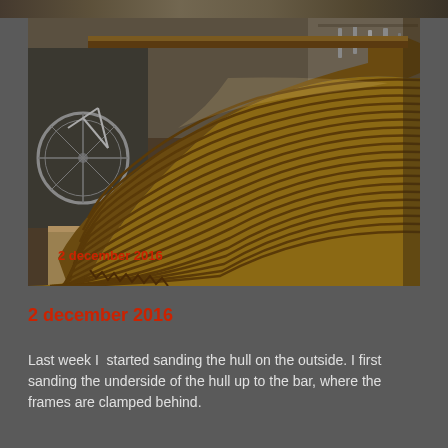[Figure (photo): Photograph of a wooden boat hull under construction, showing curved wooden planks/strips running lengthwise along the hull. The hull is flipped upside down on a wooden frame in a garage/workshop. A bicycle is visible in the background along with tools on the wall.]
2 december 2016
Last week I  started sanding the hull on the outside. I first sanding the underside of the hull up to the bar, where the frames are clamped behind.